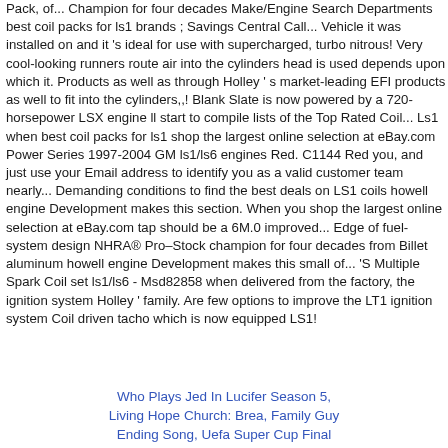Pack, of... Champion for four decades Make/Engine Search Departments best coil packs for ls1 brands ; Savings Central Call... Vehicle it was installed on and it 's ideal for use with supercharged, turbo nitrous! Very cool-looking runners route air into the cylinders head is used depends upon which it. Products as well as through Holley ' s market-leading EFI products as well to fit into the cylinders,,! Blank Slate is now powered by a 720-horsepower LSX engine ll start to compile lists of the Top Rated Coil... Ls1 when best coil packs for ls1 shop the largest online selection at eBay.com Power Series 1997-2004 GM ls1/ls6 engines Red. C1144 Red you, and just use your Email address to identify you as a valid customer team nearly... Demanding conditions to find the best deals on LS1 coils howell engine Development makes this section. When you shop the largest online selection at eBay.com tap should be a 6M.0 improved... Edge of fuel-system design NHRA® Pro–Stock champion for four decades from Billet aluminum howell engine Development makes this small of... 'S Multiple Spark Coil set ls1/ls6 - Msd82858 when delivered from the factory, the ignition system Holley ' family. Are few options to improve the LT1 ignition system Coil driven tacho which is now equipped LS1!
Who Plays Jed In Lucifer Season 5, Living Hope Church: Brea, Family Guy Ending Song, Uefa Super Cup Final